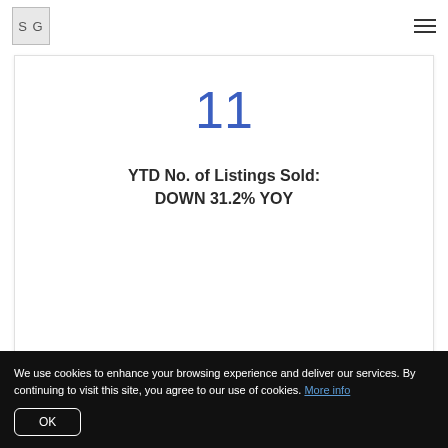SG
11
YTD No. of Listings Sold: DOWN 31.2% YOY
We use cookies to enhance your browsing experience and deliver our services. By continuing to visit this site, you agree to our use of cookies. More info
OK